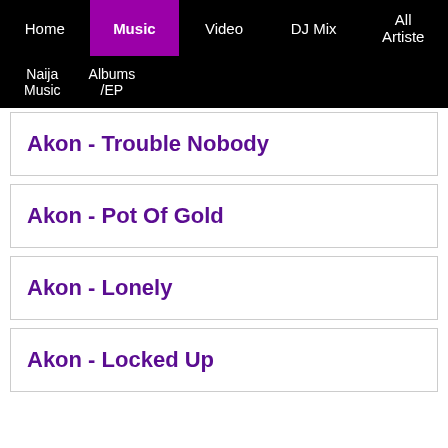Home | Music | Video | DJ Mix | All Artiste | Naija Music | Albums/EP
Akon - Trouble Nobody
Akon - Pot Of Gold
Akon - Lonely
Akon - Locked Up